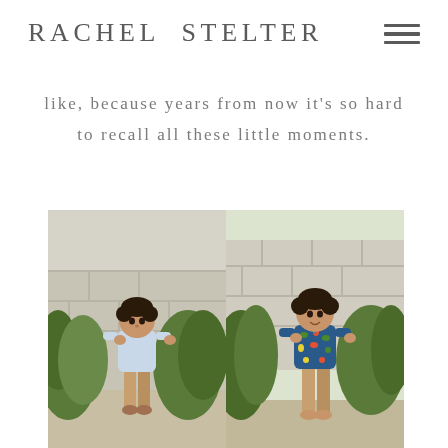RACHEL STELTER
like, because years from now it's so hard to recall all these little moments.
[Figure (photo): Two side-by-side photos of a young toddler boy. Left photo: the boy wearing a light blue shirt and tan pants, standing among green bushes. Right photo: the same boy slightly older wearing a floral blue shirt and tan pants, standing among green bushes near a stone wall.]